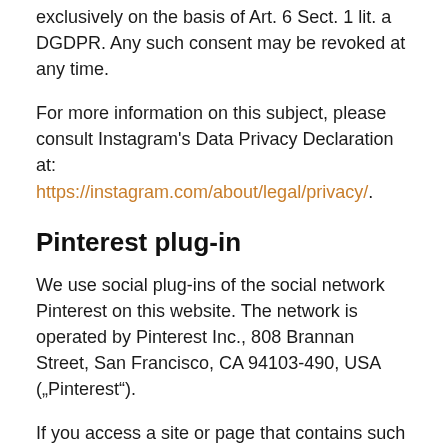exclusively on the basis of Art. 6 Sect. 1 lit. a DGDPR. Any such consent may be revoked at any time.
For more information on this subject, please consult Instagram's Data Privacy Declaration at: https://instagram.com/about/legal/privacy/.
Pinterest plug-in
We use social plug-ins of the social network Pinterest on this website. The network is operated by Pinterest Inc., 808 Brannan Street, San Francisco, CA 94103-490, USA („Pinterest“).
If you access a site or page that contains such a plug-in, your browser will establish a direct connection with Pinterest's servers. During this process, the plug-in transfers log data to Pinterest's servers in the